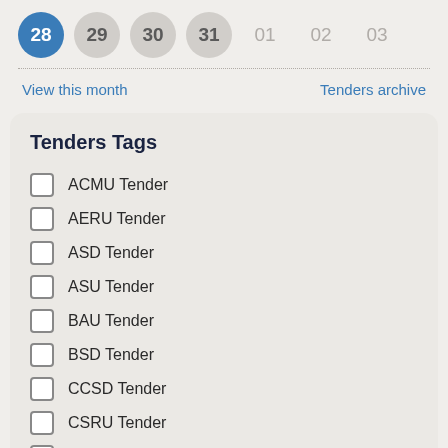[Figure (screenshot): Calendar date picker row showing days 28 (selected, blue circle), 29, 30, 31 (grey circles), 01, 02, 03 (faded text, no circle)]
View this month
Tenders archive
Tenders Tags
ACMU Tender
AERU Tender
ASD Tender
ASU Tender
BAU Tender
BSD Tender
CCSD Tender
CSRU Tender
CSSC Tender
CVPRU Tender